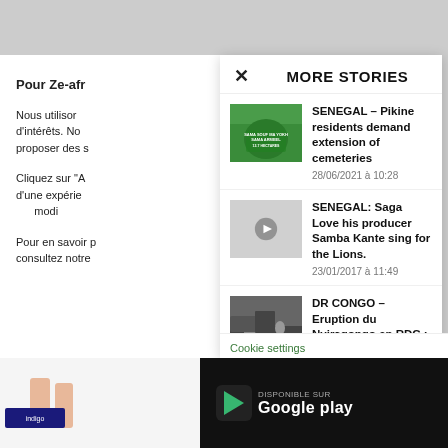MORE STORIES
Pour Ze-afr
Nous utilisor d'intérêts. No proposer des s
Cliquez sur "A d'une expérie modi
Pour en savoir p consultez notre
SENEGAL – Pikine residents demand extension of cemeteries
28/06/2021 à 10:28
SENEGAL: Saga Love his producer Samba Kante sing for the Lions.
23/01/2017 à 11:49
DR CONGO – Eruption du Nyiragongo en RDC : 350.000...
02/06/2021 à 09:26
Cookie settings
Disponible sur Google play